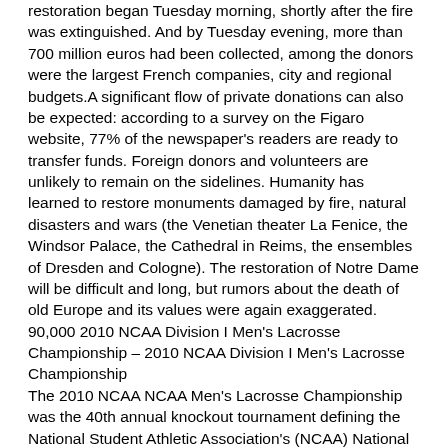restoration began Tuesday morning, shortly after the fire was extinguished. And by Tuesday evening, more than 700 million euros had been collected, among the donors were the largest French companies, city and regional budgets.A significant flow of private donations can also be expected: according to a survey on the Figaro website, 77% of the newspaper's readers are ready to transfer funds. Foreign donors and volunteers are unlikely to remain on the sidelines. Humanity has learned to restore monuments damaged by fire, natural disasters and wars (the Venetian theater La Fenice, the Windsor Palace, the Cathedral in Reims, the ensembles of Dresden and Cologne). The restoration of Notre Dame will be difficult and long, but rumors about the death of old Europe and its values were again exaggerated.
90,000 2010 NCAA Division I Men's Lacrosse Championship – 2010 NCAA Division I Men's Lacrosse Championship
The 2010 NCAA NCAA Men's Lacrosse Championship was the 40th annual knockout tournament defining the National Student Athletic Association's (NCAA) National College Division I Lacrosse Championship. Sixteen teams were selected for the tournament based on their results in the regular season, and some were selected for the conference tournament.The